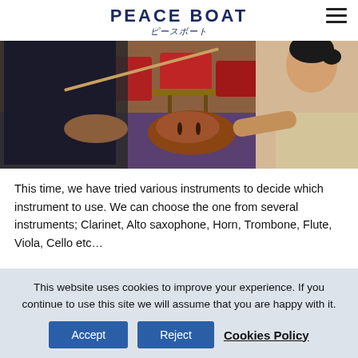PEACE BOAT
[Figure (photo): A violin lesson scene aboard a ship. One person holds a violin while an instructor guides them. Red chairs and lounge furniture visible in background.]
This time, we have tried various instruments to decide which instrument to use. We can choose the one from several instruments; Clarinet, Alto saxophone, Horn, Trombone, Flute, Viola, Cello etc…
This website uses cookies to improve your experience. If you continue to use this site we will assume that you are happy with it.